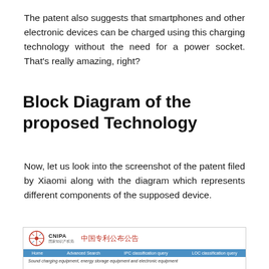The patent also suggests that smartphones and other electronic devices can be charged using this charging technology without the need for a power socket. That's really amazing, right?
Block Diagram of the proposed Technology
Now, let us look into the screenshot of the patent filed by Xiaomi along with the diagram which represents different components of the supposed device.
[Figure (screenshot): Screenshot of the CNIPA (China National Intellectual Property Administration) patent publication website showing a patent titled 'Sound charging equipment, energy storage equipment and electronic equipment']